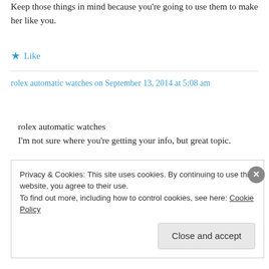Keep those things in mind because you're going to use them to make her like you.
★ Like
rolex automatic watches on September 13, 2014 at 5:08 am
rolex automatic watches
I'm not sure where you're getting your info, but great topic.
Privacy & Cookies: This site uses cookies. By continuing to use this website, you agree to their use.
To find out more, including how to control cookies, see here: Cookie Policy

Close and accept